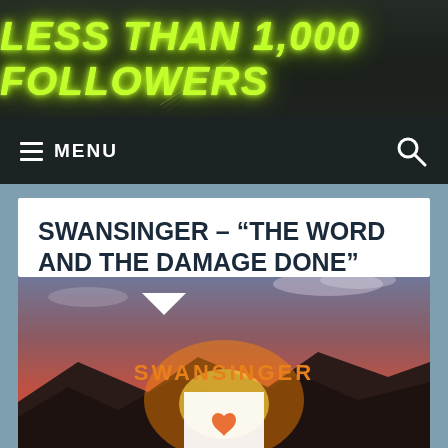LESS THAN 1,000 FOLLOWERS
≡ MENU  🔍
SWANSINGER – “THE WORD AND THE DAMAGE DONE”
[Figure (photo): Album cover for Swansinger 'The Word and the Damage Done' showing a sunset over mountains with warm red/orange tones and a heart logo at center. The word SWANSINGER appears in orange text.]